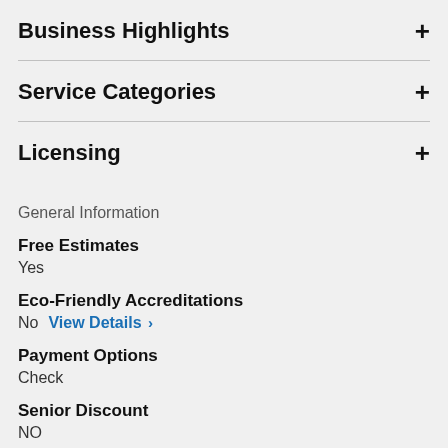Business Highlights
Service Categories
Licensing
General Information
Free Estimates
Yes
Eco-Friendly Accreditations
No   View Details >
Payment Options
Check
Senior Discount
NO